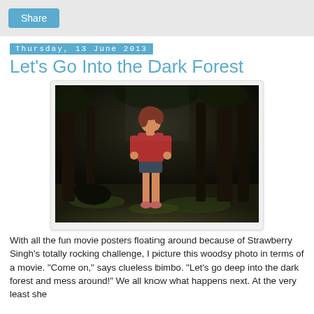Share
Thursday, 13 June 2013
Let's Go Into the Dark Forest
[Figure (photo): A 3D rendered or video-game style image of a young woman with red hair wearing a red top and denim shorts, standing in a dark forest with tall trees and mossy ground.]
With all the fun movie posters floating around because of Strawberry Singh's totally rocking challenge, I picture this woodsy photo in terms of a movie. "Come on," says clueless bimbo. "Let's go deep into the dark forest and mess around!" We all know what happens next. At the very least she